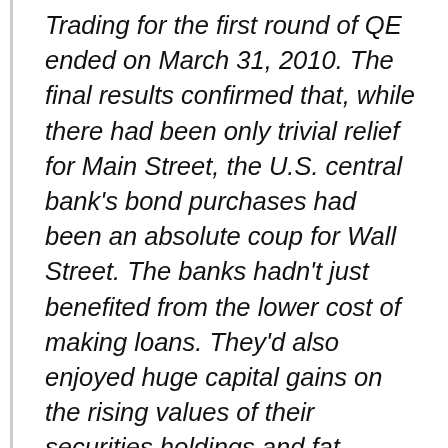Trading for the first round of QE ended on March 31, 2010. The final results confirmed that, while there had been only trivial relief for Main Street, the U.S. central bank's bond purchases had been an absolute coup for Wall Street. The banks hadn't just benefited from the lower cost of making loans. They'd also enjoyed huge capital gains on the rising values of their securities holdings and fat commissions from brokering most of the Fed's QE transactions. Wall Street had experienced its most